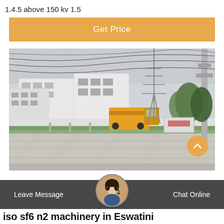1.4.5 above 150 kv 1.5
[Figure (other): Orange 'Get Price' button with white text on amber/orange background]
[Figure (photo): Outdoor photo of an electrical substation or industrial facility with power transmission towers, white warehouse buildings, a yellow truck, concrete road, green grass, and overhead power lines on an overcast day]
[Figure (other): Dark chat bar at the bottom with 'Leave Message' on left, circular avatar of a woman with headset in center, and 'Chat Online' on right]
iso sf6 n2 machinery in Eswatini